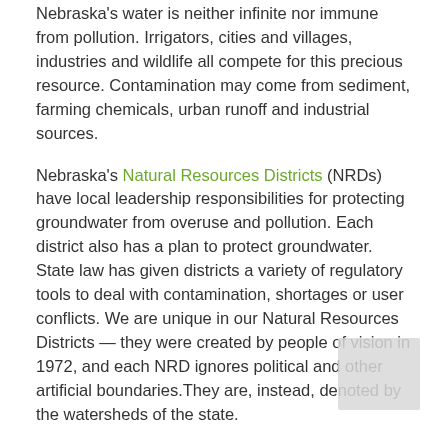Nebraska's water is neither infinite nor immune from pollution. Irrigators, cities and villages, industries and wildlife all compete for this precious resource. Contamination may come from sediment, farming chemicals, urban runoff and industrial sources.
Nebraska's Natural Resources Districts (NRDs) have local leadership responsibilities for protecting groundwater from overuse and pollution. Each district also has a plan to protect groundwater. State law has given districts a variety of regulatory tools to deal with contamination, shortages or user conflicts. We are unique in our Natural Resources Districts — they were created by people of vision in 1972, and each NRD ignores political and other artificial boundaries. They are, instead, denoted by the watersheds of the state.
A recent article by Maureen Wise in an Earth 911